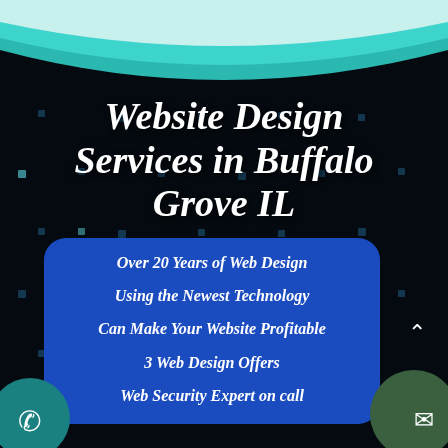[Figure (illustration): Teal and white decorative arc/wave header graphic at the top of the page]
Website Design Services in Buffalo Grove IL
Over 20 Years of Web Design
Using the Newest Technology
Can Make Your Website Profitable
3 Web Design Offers
Web Security Expert on call